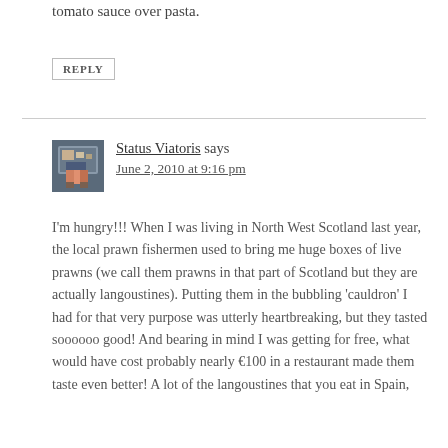tomato sauce over pasta.
REPLY
[Figure (photo): Avatar photo of Status Viatoris commenter]
Status Viatoris says
June 2, 2010 at 9:16 pm
I'm hungry!!! When I was living in North West Scotland last year, the local prawn fishermen used to bring me huge boxes of live prawns (we call them prawns in that part of Scotland but they are actually langoustines). Putting them in the bubbling 'cauldron' I had for that very purpose was utterly heartbreaking, but they tasted soooooo good! And bearing in mind I was getting for free, what would have cost probably nearly €100 in a restaurant made them taste even better! A lot of the langoustines that you eat in Spain,